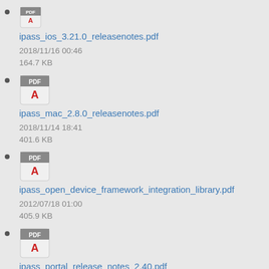ipass_ios_3.21.0_releasenotes.pdf
2018/11/16 00:46
164.7 KB
ipass_mac_2.8.0_releasenotes.pdf
2018/11/14 18:41
401.6 KB
ipass_open_device_framework_integration_library.pdf
2012/07/18 01:00
405.9 KB
ipass_portal_release_notes_2.40.pdf
2016/10/25 22:13